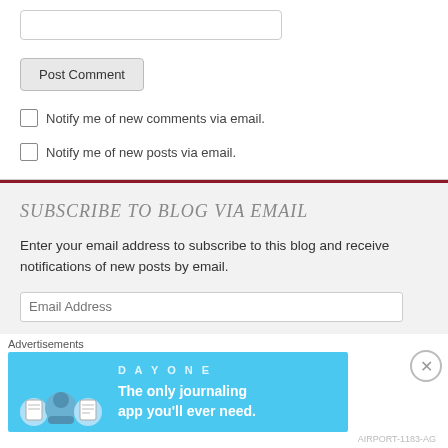[Figure (screenshot): Text input field (empty, rounded border)]
[Figure (screenshot): Post Comment button]
Notify me of new comments via email.
Notify me of new posts via email.
SUBSCRIBE TO BLOG VIA EMAIL
Enter your email address to subscribe to this blog and receive notifications of new posts by email.
[Figure (screenshot): Email Address input field]
Advertisements
[Figure (illustration): Day One journaling app advertisement banner with icons and text: The only journaling app you'll ever need.]